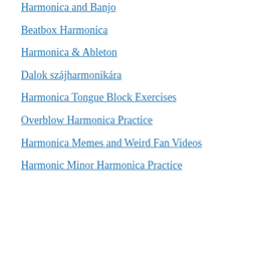Harmonica and Banjo
Beatbox Harmonica
Harmonica & Ableton
Dalok szájharmonikára
Harmonica Tongue Block Exercises
Overblow Harmonica Practice
Harmonica Memes and Weird Fan Videos
Harmonic Minor Harmonica Practice